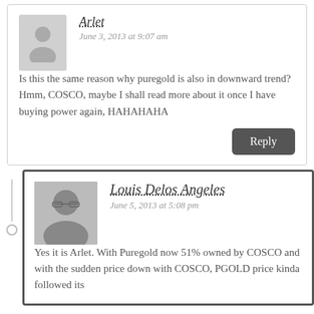Arlet
June 3, 2013 at 9:07 am
Is this the same reason why puregold is also in downward trend? Hmm, COSCO, maybe I shall read more about it once I have buying power again, HAHAHAHA
Reply
Louis Delos Angeles
June 5, 2013 at 5:08 pm
Yes it is Arlet. With Puregold now 51% owned by COSCO and with the sudden price down with COSCO, PGOLD price kinda followed its